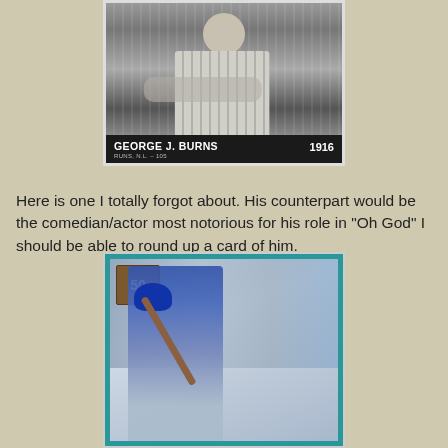[Figure (photo): Vintage black and white baseball card of George J. Burns. Shows player in striped uniform from the chest up. Card footer reads 'GEORGE J. BURNS, RUNS, N.L. - 105, 1916' on dark background.]
Here is one I totally forgot about. His counterpart would be the comedian/actor most notorious for his role in "Oh God"  I should be able to round up a card of him.
[Figure (photo): Color baseball card with teal border showing a baseball batter in mid-swing wearing a Mets uniform with blue helmet. Crowd visible in background. Card has a 50th anniversary logo badge in upper left.]